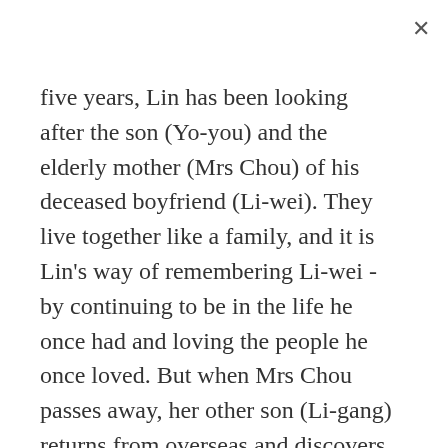five years, Lin has been looking after the son (Yo-you) and the elderly mother (Mrs Chou) of his deceased boyfriend (Li-wei). They live together like a family, and it is Lin's way of remembering Li-wei - by continuing to be in the life he once had and loving the people he once loved. But when Mrs Chou passes away, her other son (Li-gang) returns from overseas and discovers that Mrs Chou's property is passed on to Yo-you, who has been legally adopted by Lin. Li-gang contests